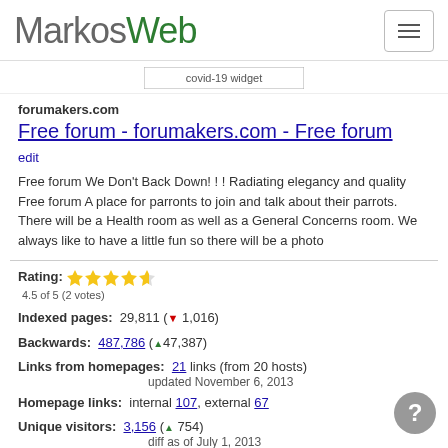MarkosWeb
[Figure (other): covid-19 widget placeholder image]
forumakers.com
Free forum - forumakers.com - Free forum
edit
Free forum We Don't Back Down! ! ! Radiating elegancy and quality Free forum A place for parronts to join and talk about their parrots. There will be a Health room as well as a General Concerns room. We always like to have a little fun so there will be a photo
Rating: 4.5 of 5 (2 votes)
Indexed pages: 29,811 (▼ 1,016)
Backwards: 487,786 (▲47,387)
Links from homepages: 21 links (from 20 hosts) updated November 6, 2013
Homepage links: internal 107, external 67
Unique visitors: 3,156 (▲ 754) diff as of July 1, 2013